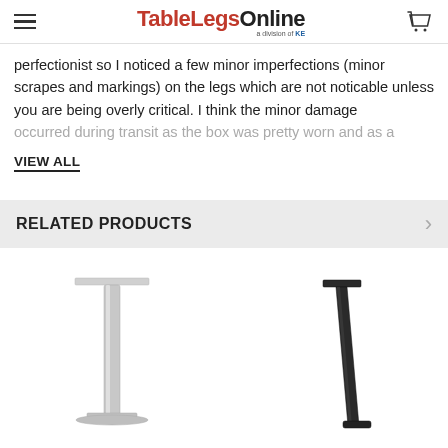TableLegsOnline — a division of KE
perfectionist so I noticed a few minor imperfections (minor scrapes and markings) on the legs which are not noticable unless you are being overly critical. I think the minor damage occurred during transit as the box was pretty worn and as a
VIEW ALL
RELATED PRODUCTS
[Figure (photo): Silver/chrome pedestal table leg, single column with square top plate, on white background]
[Figure (photo): Black angled/adjustable table leg with square top plate, on white background]